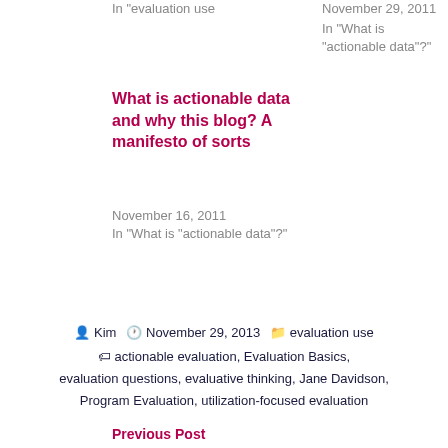In "evaluation use
November 29, 2011
In "What is "actionable data"?"
What is actionable data and why this blog? A manifesto of sorts
November 16, 2011
In "What is "actionable data"?"
Kim  November 29, 2013  evaluation use
actionable evaluation, Evaluation Basics, evaluation questions, evaluative thinking, Jane Davidson, Program Evaluation, utilization-focused evaluation
Previous Post